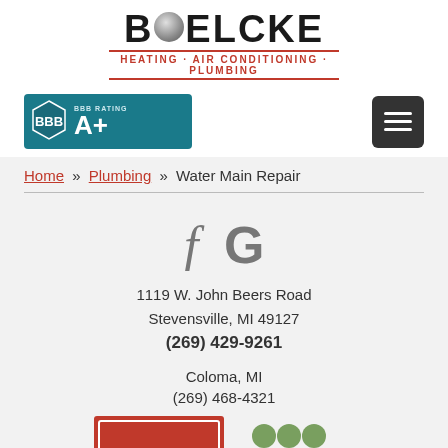[Figure (logo): Boelcke Heating Air Conditioning Plumbing logo with stylized ball replacing letter O]
[Figure (logo): BBB Rating A+ badge in teal]
[Figure (other): Hamburger menu button (dark gray)]
Home » Plumbing » Water Main Repair
[Figure (other): Facebook and Google social media icons (f G)]
1119 W. John Beers Road
Stevensville, MI 49127
(269) 429-9261
Coloma, MI
(269) 468-4321
[Figure (other): Bottom logos partially visible]